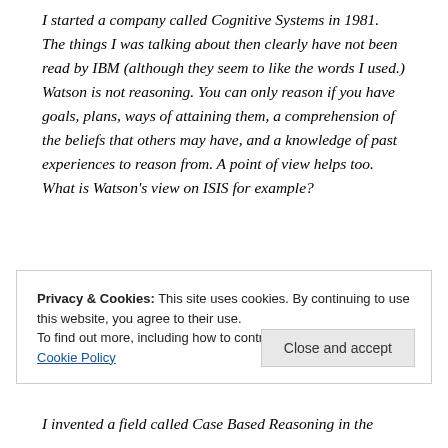I started a company called Cognitive Systems in 1981. The things I was talking about then clearly have not been read by IBM (although they seem to like the words I used.) Watson is not reasoning. You can only reason if you have goals, plans, ways of attaining them, a comprehension of the beliefs that others may have, and a knowledge of past experiences to reason from. A point of view helps too. What is Watson's view on ISIS for example?
Privacy & Cookies: This site uses cookies. By continuing to use this website, you agree to their use. To find out more, including how to control cookies, see here: Cookie Policy
I invented a field called Case Based Reasoning in the